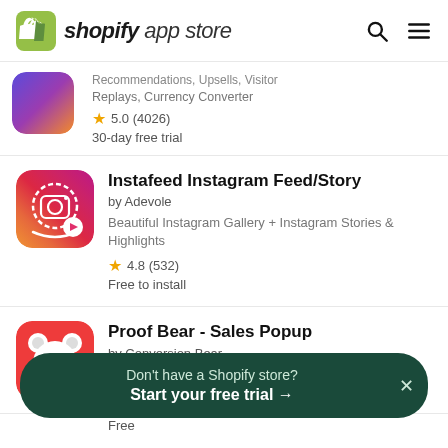shopify app store
Recommendations, Upsells, Visitor Replays, Currency Converter
★ 5.0 (4026)
30-day free trial
Instafeed Instagram Feed/Story
by Adevole
Beautiful Instagram Gallery + Instagram Stories & Highlights
★ 4.8 (532)
Free to install
Proof Bear - Sales Popup
by Conversion Bear
Add social proof - sales popups & cart
Free
Don't have a Shopify store? Start your free trial →